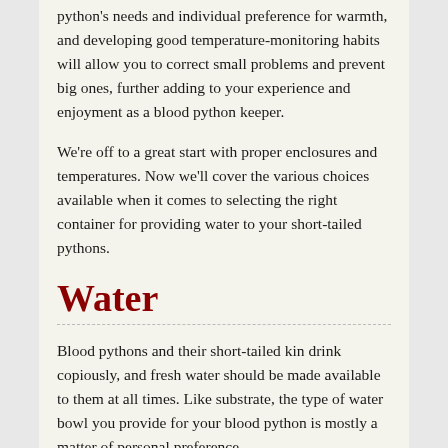python's needs and individual preference for warmth, and developing good temperature-monitoring habits will allow you to correct small problems and prevent big ones, further adding to your experience and enjoyment as a blood python keeper.
We're off to a great start with proper enclosures and temperatures. Now we'll cover the various choices available when it comes to selecting the right container for providing water to your short-tailed pythons.
Water
Blood pythons and their short-tailed kin drink copiously, and fresh water should be made available to them at all times. Like substrate, the type of water bowl you provide for your blood python is mostly a matter of personal preference.